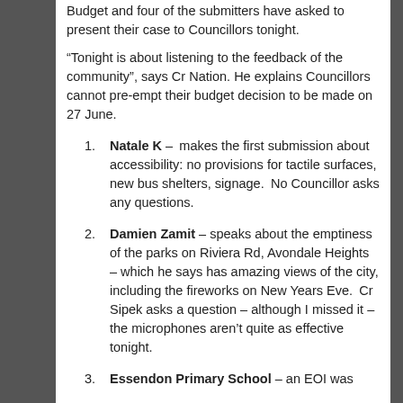Budget and four of the submitters have asked to present their case to Councillors tonight.
“Tonight is about listening to the feedback of the community”, says Cr Nation. He explains Councillors cannot pre-empt their budget decision to be made on 27 June.
Natale K – makes the first submission about accessibility: no provisions for tactile surfaces, new bus shelters, signage. No Councillor asks any questions.
Damien Zamit – speaks about the emptiness of the parks on Riviera Rd, Avondale Heights – which he says has amazing views of the city, including the fireworks on New Years Eve. Cr Sipek asks a question – although I missed it – the microphones aren’t quite as effective tonight.
Essendon Primary School – an EOI was